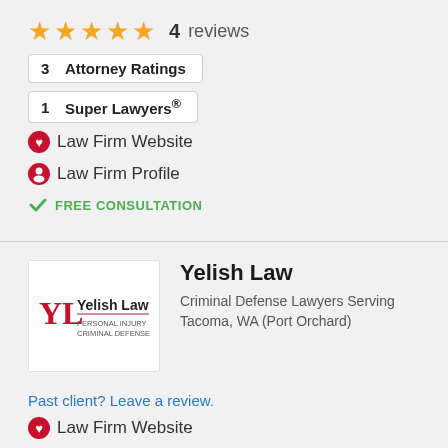★★★★★ 4 reviews
3 Attorney Ratings
1 Super Lawyers®
🔴 Law Firm Website
👤 Law Firm Profile
✔ FREE CONSULTATION
Yelish Law
Criminal Defense Lawyers Serving Tacoma, WA (Port Orchard)
Past client? Leave a review.
🔴 Law Firm Website